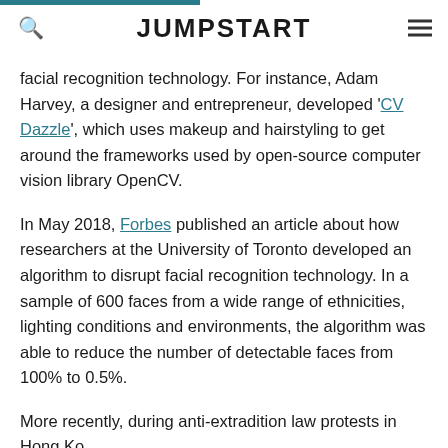JUMPSTART
facial recognition technology. For instance, Adam Harvey, a designer and entrepreneur, developed 'CV Dazzle', which uses makeup and hairstyling to get around the frameworks used by open-source computer vision library OpenCV.
In May 2018, Forbes published an article about how researchers at the University of Toronto developed an algorithm to disrupt facial recognition technology. In a sample of 600 faces from a wide range of ethnicities, lighting conditions and environments, the algorithm was able to reduce the number of detectable faces from 100% to 0.5%.
More recently, during anti-extradition law protests in Hong Kong in 2019, protesters used laser pointers and smart hats